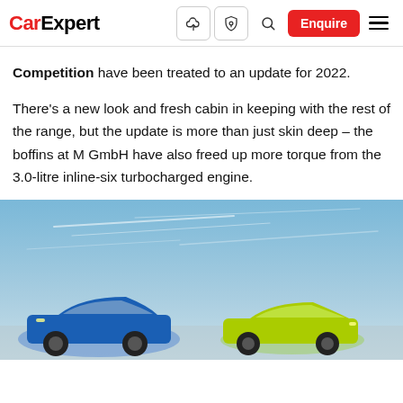CarExpert — navigation bar with logo, icons, Enquire button, and hamburger menu
Competition have been treated to an update for 2022.
There’s a new look and fresh cabin in keeping with the rest of the range, but the update is more than just skin deep – the boffins at M GmbH have also freed up more torque from the 3.0-litre inline-six turbocharged engine.
[Figure (photo): Two BMW M cars (one blue, one yellow-green) photographed outdoors against a blue sky with light clouds.]